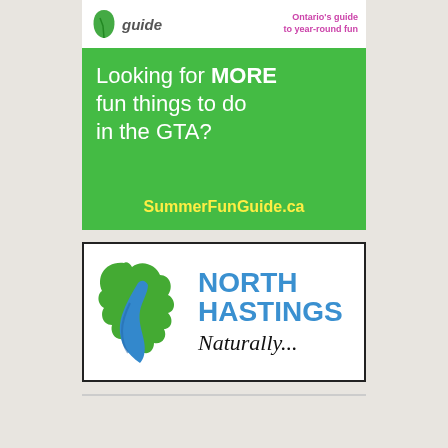[Figure (advertisement): Summer Fun Guide advertisement with green background. Header shows 'guide' logo with leaf icon and tagline 'Ontario's guide to year-round fun' in pink. Main green section reads 'Looking for MORE fun things to do in the GTA?' with URL 'SummerFunGuide.ca' in yellow.]
[Figure (logo): North Hastings logo with green oak leaf and blue river/stream graphic on the left, and 'NORTH HASTINGS' in bold blue text on the right with 'Naturally...' in italic script below.]